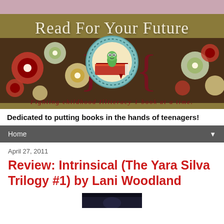[Figure (illustration): Blog header banner for 'Read For Your Future' with floral background, a bookworm mascot on a red book in a circular emblem, and the tagline 'Fighting childhood Illiteracy 1 book at a time.']
Dedicated to putting books in the hands of teenagers!
Home
April 27, 2011
Review: Intrinsical (The Yara Silva Trilogy #1) by Lani Woodland
[Figure (photo): Book cover image partially visible at bottom of page]